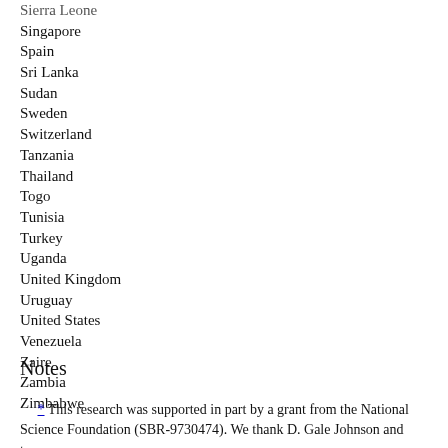Sierra Leone
Singapore
Spain
Sri Lanka
Sudan
Sweden
Switzerland
Tanzania
Thailand
Togo
Tunisia
Turkey
Uganda
United Kingdom
Uruguay
United States
Venezuela
Zaire
Zambia
Zimbabwe
Notes
* This research was supported in part by a grant from the National Science Foundation (SBR-9730474). We thank D. Gale Johnson and two anonymous